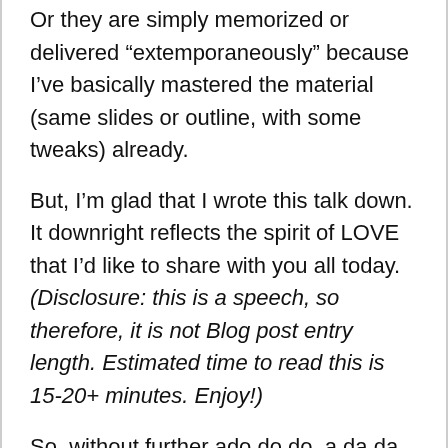Or they are simply memorized or delivered “extemporaneously” because I’ve basically mastered the material (same slides or outline, with some tweaks) already.
But, I’m glad that I wrote this talk down. It downright reflects the spirit of LOVE that I’d like to share with you all today. (Disclosure: this is a speech, so therefore, it is not Blog post entry length. Estimated time to read this is 15-20+ minutes. Enjoy!)
So, without further ado do do, a da da da, here we go!